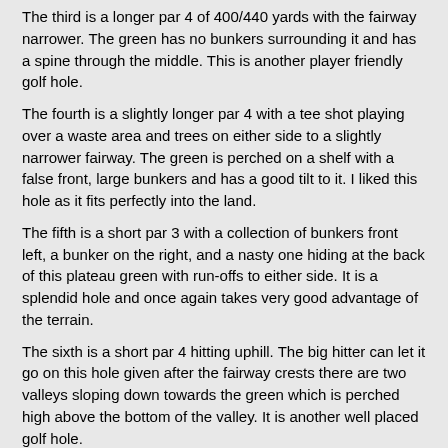The third is a longer par 4 of 400/440 yards with the fairway narrower. The green has no bunkers surrounding it and has a spine through the middle. This is another player friendly golf hole.
The fourth is a slightly longer par 4 with a tee shot playing over a waste area and trees on either side to a slightly narrower fairway. The green is perched on a shelf with a false front, large bunkers and has a good tilt to it. I liked this hole as it fits perfectly into the land.
The fifth is a short par 3 with a collection of bunkers front left, a bunker on the right, and a nasty one hiding at the back of this plateau green with run-offs to either side. It is a splendid hole and once again takes very good advantage of the terrain.
The sixth is a short par 4 hitting uphill. The big hitter can let it go on this hole given after the fairway crests there are two valleys sloping down towards the green which is perched high above the bottom of the valley. It is another well placed golf hole.
The seventh is a longer par 5 playing as sort of a gentle double dogleg. The green is nestled into the mounds surrounding it with the back part of the green obscured by the hill on the left. It is an okay hole but has that good disguise of the green.